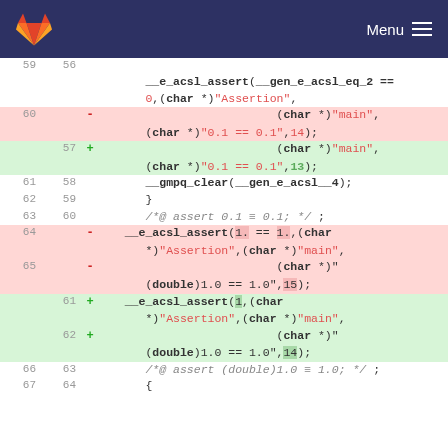GitLab — Menu
[Figure (screenshot): Code diff view showing C code with line numbers, removed lines (red background) and added lines (green background). Diff shows changes to __e_acsl_assert calls and __gmpq_clear calls.]